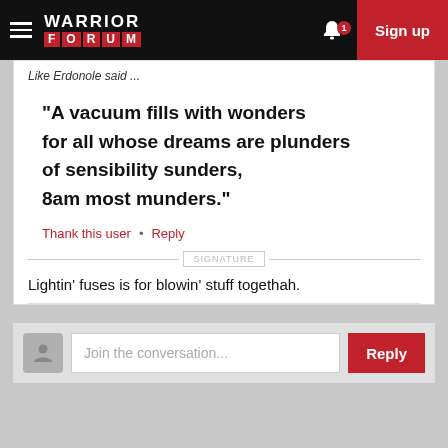Warrior Forum — Sign up
Like Erdonole said ...
"A vacuum fills with wonders for all whose dreams are plunders of sensibility sunders, 8am most munders."
Thank this user • Reply
SIGNATURE
Lightin' fuses is for blowin' stuff togethah.
Join the conversation... Reply